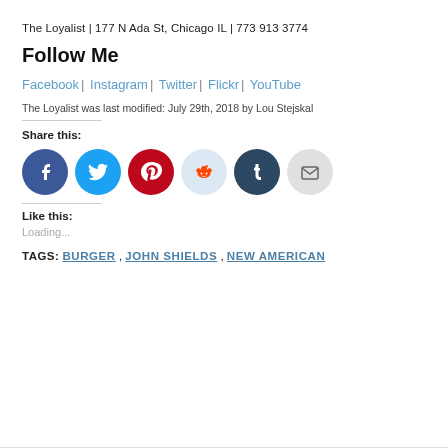The Loyalist | 177 N Ada St, Chicago IL | 773 913 3774
Follow Me
Facebook | Instagram | Twitter | Flickr | YouTube
The Loyalist was last modified: July 29th, 2018 by Lou Stejskal
Share this:
[Figure (infographic): Row of social share icon buttons: Facebook (blue), Twitter (light blue), Pinterest (red), Reddit (light blue), Tumblr (dark navy), Email (light gray)]
Like this:
Loading...
TAGS: BURGER , JOHN SHIELDS , NEW AMERICAN